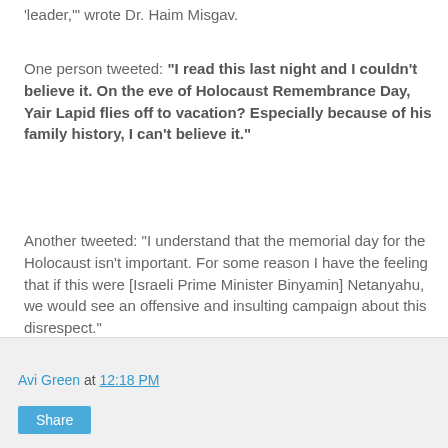'leader,'" wrote Dr. Haim Misgav.
One person tweeted: "I read this last night and I couldn't believe it. On the eve of Holocaust Remembrance Day, Yair Lapid flies off to vacation? Especially because of his family history, I can't believe it."
Another tweeted: "I understand that the memorial day for the Holocaust isn't important. For some reason I have the feeling that if this were [Israeli Prime Minister Binyamin] Netanyahu, we would see an offensive and insulting campaign about this disrespect."
Lapid gets away with this because of his politics. Absolutely repellent. It proves he's simply not qualified for being a premier.
Avi Green at 12:18 PM
Share